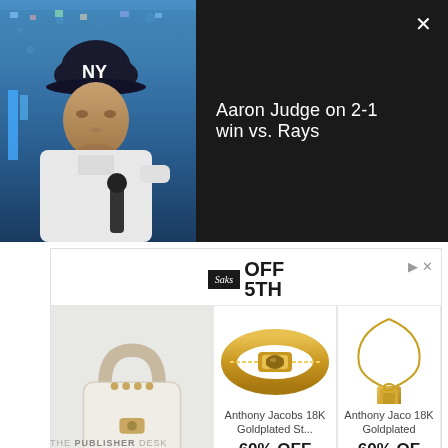[Figure (screenshot): Video thumbnail of Aaron Judge in Yankees uniform being interviewed at baseball stadium]
Aaron Judge on 2-1 win vs. Rays
[Figure (screenshot): Saks OFF 5TH advertisement featuring STAUD Kenny Croc-Embossed Leather Top Handle Bag at $97.49 70% OFF, Anthony Jacobs 18K Goldplated items at 60% OFF, Adriana Orsini Pavé Intertwined Bangle at 46% OFF, Mac Dugga Dalmation Print at 39% OFF]
THE PUBLISHER DESK